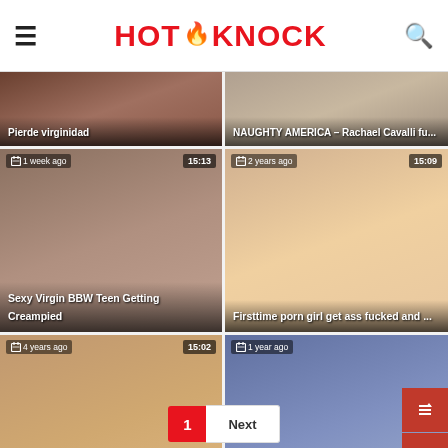HOT KNOCK
[Figure (screenshot): Thumbnail: Pierde virginidad]
[Figure (screenshot): Thumbnail: NAUGHTY AMERICA – Rachael Cavalli fu...]
[Figure (screenshot): Thumbnail: Sexy Virgin BBW Teen Getting Creampied, 1 week ago, 15:13]
[Figure (screenshot): Thumbnail: Firsttime porn girl get ass fucked and ..., 2 years ago, 15:09]
[Figure (screenshot): Thumbnail: Two sexy young sluts lose their bukka..., 4 years ago, 15:02]
[Figure (screenshot): Thumbnail: Naughty America – Gia Milana teaches..., 1 year ago]
1
Next